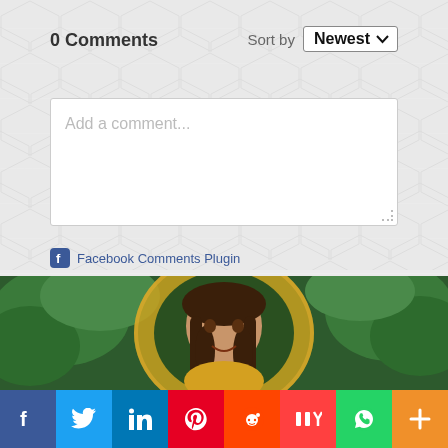0 Comments
Sort by Newest
Add a comment...
Facebook Comments Plugin
[Figure (photo): A child with long curly hair surrounded by a circular arrangement of sunflowers, set against a green leafy background]
[Figure (infographic): Social media share buttons bar: Facebook (dark blue), Twitter (light blue), LinkedIn (blue), Pinterest (red), Reddit (orange-red), Mix (red), WhatsApp (green), More (orange)]